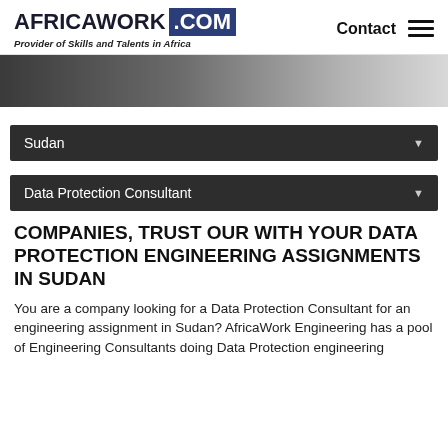AFRICAWORK .COM — Provider of Skills and Talents in Africa | Contact
[Figure (photo): Partial hero image showing a person, fading to light gray on the right side]
Sudan ▼
Data Protection Consultant ▼
COMPANIES, TRUST OUR WITH YOUR DATA PROTECTION ENGINEERING ASSIGNMENTS IN SUDAN
You are a company looking for a Data Protection Consultant for an engineering assignment in Sudan? AfricaWork Engineering has a pool of Engineering Consultants doing Data Protection engineering